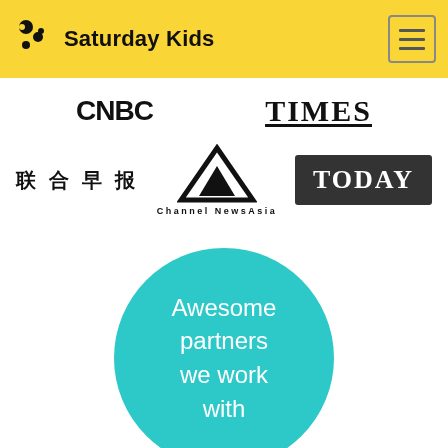Saturday Kids
[Figure (logo): CNBC logo and TIME magazine logo]
[Figure (logo): 联合早报 Chinese newspaper logo, Channel NewsAsia logo (triangle), TODAY newspaper logo]
[Figure (illustration): Teal circle with text: Awesome partners we work with]